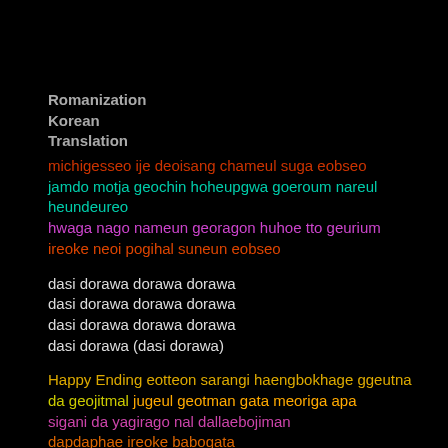Romanization
Korean
Translation
michigesseo ije deoisang chameul suga eobseo
jamdo motja geochin hoheupgwa goeroum nareul heundeureo
hwaga nago nameun georagon huhoe tto geurium
ireoke neoi pogihal suneun eobseo
dasi dorawa dorawa dorawa
dasi dorawa dorawa dorawa
dasi dorawa dorawa dorawa
dasi dorawa (dasi dorawa)
Happy Ending eotteon sarangi haengbokhage ggeutna
da geojitmal jugeul geotman gata meoriga apa
sigani da yagirago nal dallaebojiman
dapdaphae ireoke babogata